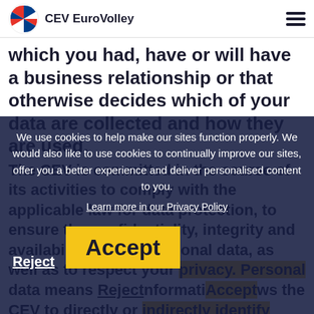CEV EuroVolley
which you had, have or will have a business relationship or that otherwise decides which of your data are collected and how they are used.
[Figure (screenshot): Cookie consent overlay on dark background with text: 'We use cookies to help make our sites function properly. We would also like to use cookies to continually improve our sites, offer you a better experience and deliver personalised content to you.' with a 'Learn more in our Privacy Policy' link, a 'Reject' button and an 'Accept' button on yellow background.]
The CEV is committed in the course of its activities to comply with the applicable law for data protection, to ensure the confidentiality, integrity and availability of your personal data, as well as to respect your privacy. Personal data means any information that allows the CEV to directly or indirectly identify you. The commitments described in this Privacy Policy explain how we process